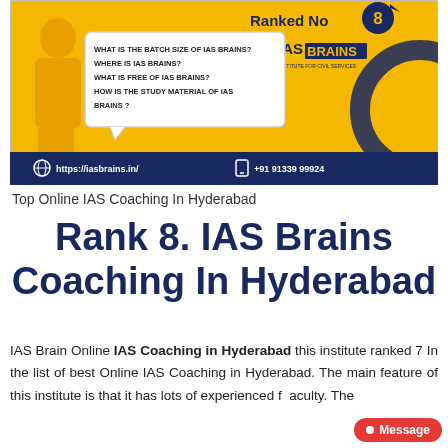[Figure (infographic): IAS Brains institute banner with yellow background, 'Ranked No 8' badge, IAS Brains logo, speech bubble with FAQ text, website and phone number at the bottom bar]
Top Online IAS Coaching In Hyderabad
Rank 8. IAS Brains Coaching In Hyderabad
IAS Brain Online IAS Coaching in Hyderabad this institute ranked 7 In the list of best Online IAS Coaching in Hyderabad. The main feature of this institute is that it has lots of experienced faculty. The